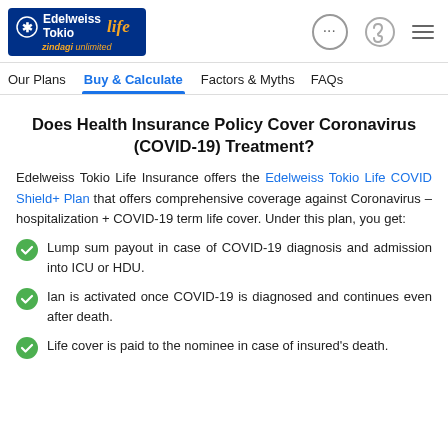Edelweiss Tokio life zindagi unlimited
Our Plans | Buy & Calculate | Factors & Myths | FAQs
Does Health Insurance Policy Cover Coronavirus (COVID-19) Treatment?
Edelweiss Tokio Life Insurance offers the Edelweiss Tokio Life COVID Shield+ Plan that offers comprehensive coverage against Coronavirus – hospitalization + COVID-19 term life cover. Under this plan, you get:
Lump sum payout in case of COVID-19 diagnosis and admission into ICU or HDU.
Ian is activated once COVID-19 is diagnosed and continues even after death.
Life cover is paid to the nominee in case of insured's death.